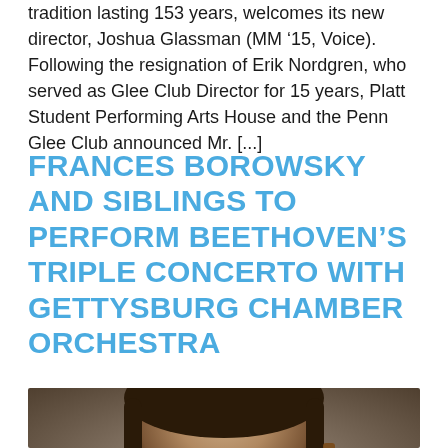tradition lasting 153 years, welcomes its new director, Joshua Glassman (MM ’15, Voice). Following the resignation of Erik Nordgren, who served as Glee Club Director for 15 years, Platt Student Performing Arts House and the Penn Glee Club announced Mr. [...]
FRANCES BOROWSKY AND SIBLINGS TO PERFORM BEETHOVEN’S TRIPLE CONCERTO WITH GETTYSBURG CHAMBER ORCHESTRA
[Figure (photo): Close-up photo of a woman with dark hair holding a string instrument (violin or viola), cropped at face and upper body level.]